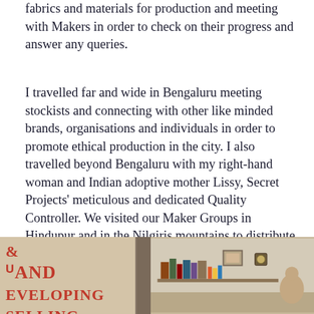fabrics and materials for production and meeting with Makers in order to check on their progress and answer any queries.
I travelled far and wide in Bengaluru meeting stockists and connecting with other like minded brands, organisations and individuals in order to promote ethical production in the city. I also travelled beyond Bengaluru with my right-hand woman and Indian adoptive mother Lissy, Secret Projects' meticulous and dedicated Quality Controller. We visited our Maker Groups in Hindupur and in the Nilgiris mountains to distribute materials and to lead training sessions on new products. These sessions were always incredibly motivating. We were always welcomed with such warmth and absolute eagerness to learn.
[Figure (photo): A partially visible photo showing a bookshelf or book display on the left with large red text reading '& AND DEVELOPING SELLING', and on the right a room interior with shelving, books, and a person partially visible.]